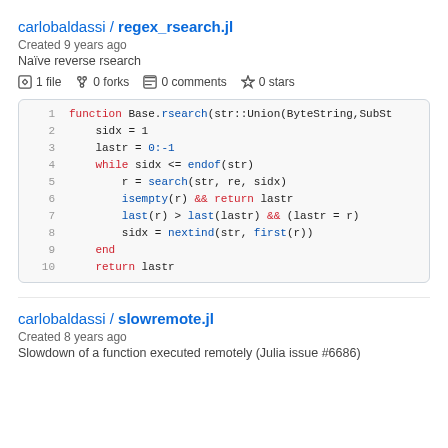carlobaldassi / regex_rsearch.jl
Created 9 years ago
Naïve reverse rsearch
1 file  0 forks  0 comments  0 stars
[Figure (screenshot): Code block showing Julia function Base.rsearch with 10 lines of syntax-highlighted code]
carlobaldassi / slowremote.jl
Created 8 years ago
Slowdown of a function executed remotely (Julia issue #6686)